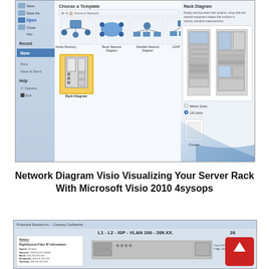[Figure (screenshot): Microsoft Visio 2010 interface showing 'Choose a Template' dialog with network diagram templates including Active Directory, Basic Network Diagram, Detailed Network Diagram, LDAP Directory, and Rack Diagram (selected). Right panel shows Rack Diagram preview with rack equipment images, Metric/US Units radio buttons, and Create button.]
Network Diagram Visio Visualizing Your Server Rack With Microsoft Visio 2010 4sysops
[Figure (screenshot): Network diagram showing L1 - L2 - ISP - VLAN 100 - 209.XX. header, notes box with RightSource Fiber IP information (Speed: 10 mbts, Network: 209.XX.119.135/26, Mask: 255.255.255.192, Broadcast: 209.XX.119.191, Gateway: 209.XX.119.129), a Cisco 2911 Router device, and a red scroll-to-top button overlay.]